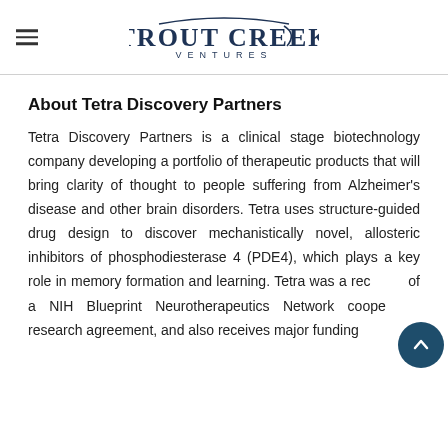Trout Creek Ventures
About Tetra Discovery Partners
Tetra Discovery Partners is a clinical stage biotechnology company developing a portfolio of therapeutic products that will bring clarity of thought to people suffering from Alzheimer's disease and other brain disorders. Tetra uses structure-guided drug design to discover mechanistically novel, allosteric inhibitors of phosphodiesterase 4 (PDE4), which plays a key role in memory formation and learning. Tetra was a recipient of a NIH Blueprint Neurotherapeutics Network cooperative research agreement, and also receives major funding